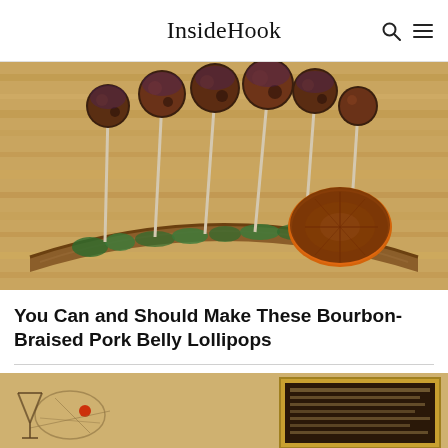InsideHook
[Figure (photo): Food photo showing bourbon-braised pork belly lollipops on sticks arranged on a curved wooden board with greens and a charred citrus half on a butcher block table]
You Can and Should Make These Bourbon-Braised Pork Belly Lollipops
[Figure (photo): Partial view of a second article image, appears to show a map or illustration with a red dot and what looks like a framed image]